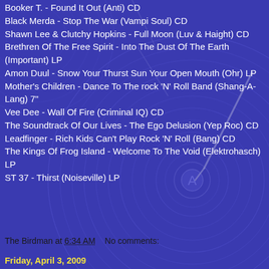Booker T. - Found It Out (Anti) CD
Black Merda - Stop The War (Vampi Soul) CD
Shawn Lee & Clutchy Hopkins - Full Moon (Luv & Haight) CD
Brethren Of The Free Spirit - Into The Dust Of The Earth (Important) LP
Amon Duul - Snow Your Thurst Sun Your Open Mouth (Ohr) LP
Mother's Children - Dance To The rock 'N' Roll Band (Shang-A-Lang) 7"
Vee Dee - Wall Of Fire (Criminal IQ) CD
The Soundtrack Of Our Lives - The Ego Delusion (Yep Roc) CD
Leadfinger - Rich Kids Can't Play Rock 'N' Roll (Bang) CD
The Kings Of Frog Island - Welcome To The Void (Elektrohasch) LP
ST 37 - Thirst (Noiseville) LP
The Birdman at 6:34 AM    No comments:
Friday, April 3, 2009